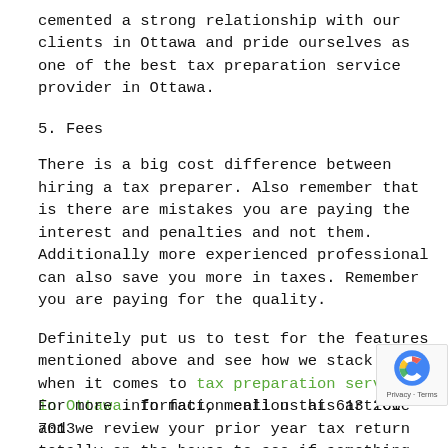cemented a strong relationship with our clients in Ottawa and pride ourselves as one of the best tax preparation service provider in Ottawa.
5. Fees
There is a big cost difference between hiring a tax preparer. Also remember that is there are mistakes you are paying the interest and penalties and not them. Additionally more experienced professional can also save you more in taxes. Remember you are paying for the quality.
Definitely put us to test for the features mentioned above and see how we stack up when it comes to tax preparation services in Ottawa. In fact, mention this article and we review your prior year tax return totally on the house to see if something was missed or overl
For more information call us at 613 266 7013